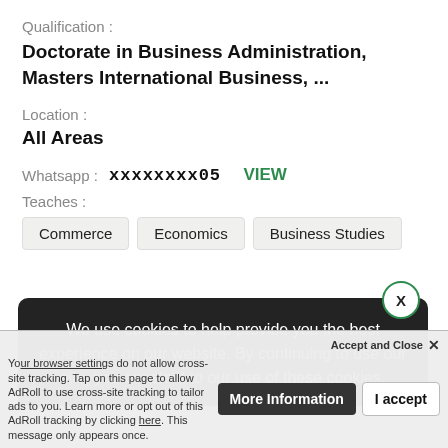Qualification :
Doctorate in Business Administration, Masters International Business, ...
Location :
All Areas
Whatsapp : xxxxxxxx05  VIEW
Teaches :
Commerce
Economics
Business Studies
We use cookies to help provide you the best experience on our website. By continuing to use our site, you constent to our use of these cookies.
EXPAND ∨
Accept and Close  ✕
Your browser settings do not allow cross-site tracking. Tap on this page to allow AdRoll to use cross-site tracking to tailor ads to you. Learn more or opt out of this AdRoll tracking by clicking here. This message only appears once.
More Information
I accept